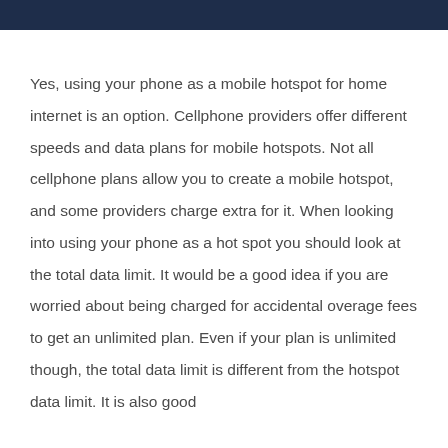Yes, using your phone as a mobile hotspot for home internet is an option. Cellphone providers offer different speeds and data plans for mobile hotspots. Not all cellphone plans allow you to create a mobile hotspot, and some providers charge extra for it. When looking into using your phone as a hot spot you should look at the total data limit. It would be a good idea if you are worried about being charged for accidental overage fees to get an unlimited plan. Even if your plan is unlimited though, the total data limit is different from the hotspot data limit. It is also good